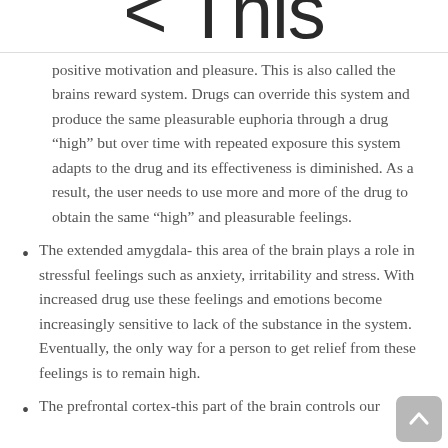< This
positive motivation and pleasure. This is also called the brains reward system. Drugs can override this system and produce the same pleasurable euphoria through a drug “high” but over time with repeated exposure this system adapts to the drug and its effectiveness is diminished. As a result, the user needs to use more and more of the drug to obtain the same “high” and pleasurable feelings.
The extended amygdala- this area of the brain plays a role in stressful feelings such as anxiety, irritability and stress. With increased drug use these feelings and emotions become increasingly sensitive to lack of the substance in the system. Eventually, the only way for a person to get relief from these feelings is to remain high.
The prefrontal cortex-this part of the brain controls our